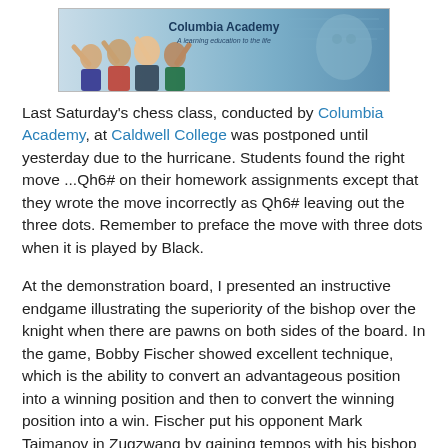[Figure (photo): Columbia Academy banner/header image showing a group of people celebrating with raised hands on the left side against a blue gradient background, with a faded face on the right, and the text 'Columbia Academy' at the top center.]
Last Saturday's chess class, conducted by Columbia Academy, at Caldwell College was postponed until yesterday due to the hurricane. Students found the right move ...Qh6# on their homework assignments except that they wrote the move incorrectly as Qh6# leaving out the three dots. Remember to preface the move with three dots when it is played by Black.
At the demonstration board, I presented an instructive endgame illustrating the superiority of the bishop over the knight when there are pawns on both sides of the board. In the game, Bobby Fischer showed excellent technique, which is the ability to convert an advantageous position into a winning position and then to convert the winning position into a win. Fischer put his opponent Mark Taimanov in Zugzwang by gaining tempos with his bishop while Taimanov's knight was unable to gain tempos in return. The ability to gain tempos is an advantage that bishops have over knights. Zugzwang means that you are obligated to make a move,